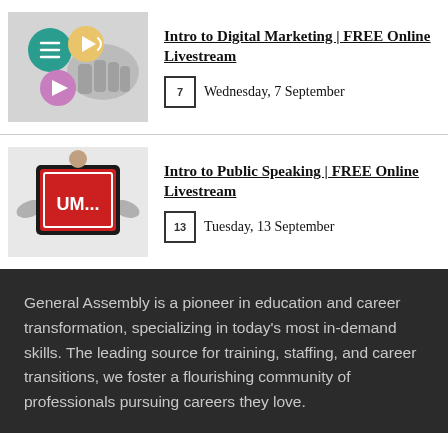[Figure (illustration): Thumbnail image for Intro to Digital Marketing event: grayscale hand with colorful circle icons (teal menu, yellow speaker, pink play button)]
Intro to Digital Marketing | FREE Online Livestream
Wednesday, 7 September
[Figure (illustration): Thumbnail image for Intro to Public Speaking event: person holding up a red tablet/sign with UM... written on it in white letters]
Intro to Public Speaking | FREE Online Livestream
Tuesday, 13 September
General Assembly is a pioneer in education and career transformation, specializing in today’s most in-demand skills. The leading source for training, staffing, and career transitions, we foster a flourishing community of professionals pursuing careers they love.